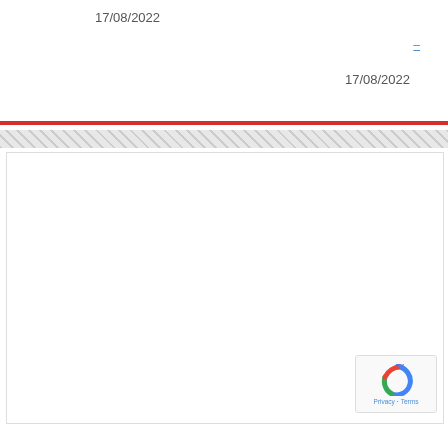17/08/2022
–
17/08/2022
[Figure (other): Horizontal red divider line]
[Figure (other): Hatched/diagonal stripe bar separator]
[Figure (other): White content area box]
[Figure (other): reCAPTCHA badge with Privacy and Terms links]